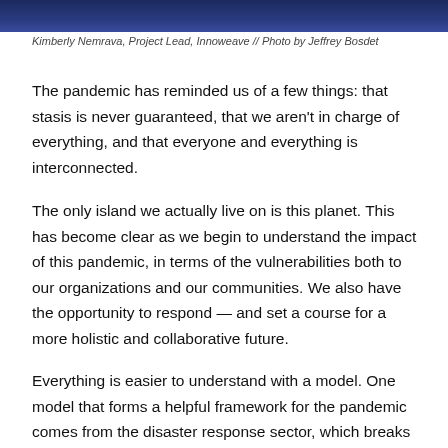[Figure (photo): Partial photo strip at top of page showing a person against a dark navy/blue background]
Kimberly Nemrava, Project Lead, Innoweave // Photo by Jeffrey Bosdet
The pandemic has reminded us of a few things: that stasis is never guaranteed, that we aren't in charge of everything, and that everyone and everything is interconnected.
The only island we actually live on is this planet. This has become clear as we begin to understand the impact of this pandemic, in terms of the vulnerabilities both to our organizations and our communities. We also have the opportunity to respond — and set a course for a more holistic and collaborative future.
Everything is easier to understand with a model. One model that forms a helpful framework for the pandemic comes from the disaster response sector, which breaks disaster into four distinct phases.